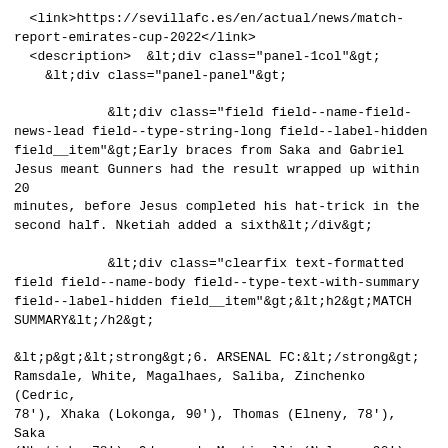<link>https://sevillafc.es/en/actual/news/match-report-emirates-cup-2022</link>
  <description>  &lt;div class="panel-1col"&gt;
    &lt;div class="panel-panel"&gt;

            &lt;div class="field field--name-field-news-lead field--type-string-long field--label-hidden field__item"&gt;Early braces from Saka and Gabriel Jesus meant Gunners had the result wrapped up within 20 minutes, before Jesus completed his hat-trick in the second half. Nketiah added a sixth&lt;/div&gt;

            &lt;div class="clearfix text-formatted field field--name-body field--type-text-with-summary field--label-hidden field__item"&gt;&lt;h2&gt;MATCH SUMMARY&lt;/h2&gt;

&lt;p&gt;&lt;strong&gt;6. ARSENAL FC:&lt;/strong&gt; Ramsdale, White, Magalhaes, Saliba, Zinchenko (Cedric, 78'), Xhaka (Lokonga, 90'), Thomas (Elneny, 78'), Saka (Nketiah, 78'), Odegaard, Martinelli (Nelson, 90') and Gabriel Jesus (Pépé, 78').&lt;/p&gt;

&lt;p&gt;&lt;strong&gt;0. SEVILLA FC:&lt;/strong&gt; Bono, Jesús Navas, José Ángel, Rekik (Kike Salas, 70'), Acuña (Pablo Pérez, 70'), Fernando (Pedro Ortiz, 70'), Óliver Torres (Nacho Quintana, 79'), Rakitic, Lamela (Munir, 79'), Tecatito (Luismi Cruz, 79') and En-Nesyri (Iván, 70').&lt;/p&gt;